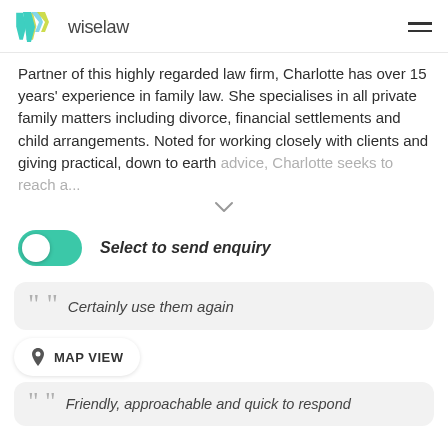wiselaw
Partner of this highly regarded law firm, Charlotte has over 15 years' experience in family law. She specialises in all private family matters including divorce, financial settlements and child arrangements. Noted for working closely with clients and giving practical, down to earth advice, Charlotte seeks to reach a...
Select to send enquiry
Certainly use them again
MAP VIEW
Friendly, approachable and quick to respond